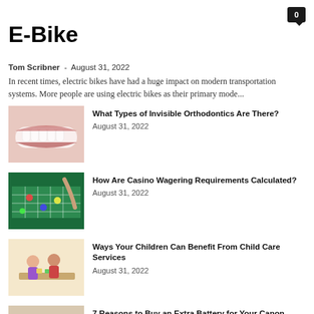E-Bike
Tom Scribner  -  August 31, 2022
In recent times, electric bikes have had a huge impact on modern transportation systems. More people are using electric bikes as their primary mode…
[Figure (photo): Close-up of smiling teeth/mouth]
What Types of Invisible Orthodontics Are There?
August 31, 2022
[Figure (photo): Casino roulette table with chips]
How Are Casino Wagering Requirements Calculated?
August 31, 2022
[Figure (photo): Children at a table doing activities in child care setting]
Ways Your Children Can Benefit From Child Care Services
August 31, 2022
[Figure (photo): Canon camera with extra battery and cable]
7 Reasons to Buy an Extra Battery for Your Canon Camera
August 30, 2022